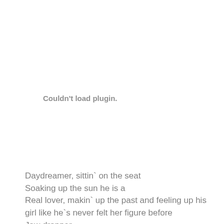Couldn't load plugin.
Daydreamer, sittin` on the seat
Soaking up the sun he is a
Real lover, makin` up the past and feeling up his
girl like he`s never felt her figure before
Jaw dropper
Looks good when he when he walks, he is the